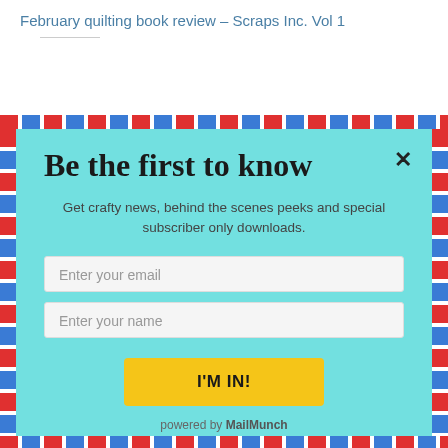February quilting book review – Scraps Inc. Vol 1
[Figure (screenshot): Newsletter signup modal popup with airmail stripe border on light teal background. Contains heading 'Be the first to know', descriptive text, email and name input fields, and a yellow 'I'M IN!' button. Powered by MailMunch.]